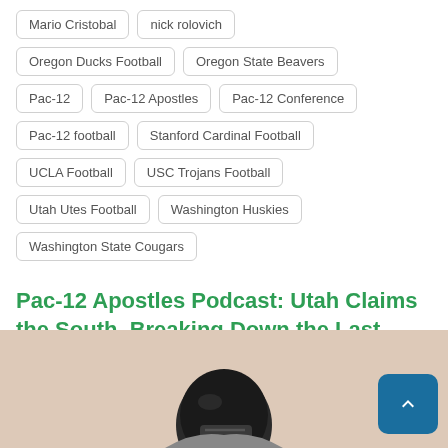Mario Cristobal
nick rolovich
Oregon Ducks Football
Oregon State Beavers
Pac-12
Pac-12 Apostles
Pac-12 Conference
Pac-12 football
Stanford Cardinal Football
UCLA Football
USC Trojans Football
Utah Utes Football
Washington Huskies
Washington State Cougars
Pac-12 Apostles Podcast: Utah Claims the South, Breaking Down the Last Week of Conference Play
[Figure (photo): Football player wearing helmet, partial view from chest up, light peach/tan background]